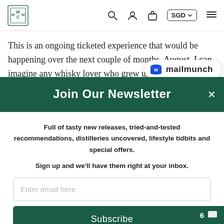WCM logo, search, account, cart, SGD, menu navigation bar
This is an ongoing ticketed experience that would be happening over the next couple of months. August. I can imagine any whisky lover who grew up in
[Figure (logo): Mailmunch logo with blue M icon and 'mailmunch' wordmark in dark text, displayed in a white rounded pill badge]
Join Our Newsletter
Full of tasty new releases, tried-and-tested recommendations, distilleries uncovered, lifestyle tidbits and special offers.

Sign up and we'll have them right at your inbox.
Enter email here
Subscribe
6